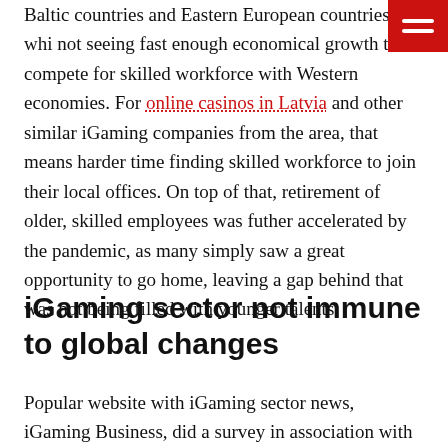Baltic countries and Eastern European countries, while not seeing fast enough economical growth to compete for skilled workforce with Western economies. For online casinos in Latvia and other similar iGaming companies from the area, that means harder time finding skilled workforce to join their local offices. On top of that, retirement of older, skilled employees was futher accelerated by the pandemic, as many simply saw a great opportunity to go home, leaving a gap behind that was not being filled with younger talents.
iGaming sector not immune to global changes
Popular website with iGaming sector news, iGaming Business, did a survey in association with Pentasia, one of the world's leading iGaming recruitment agencies, in order